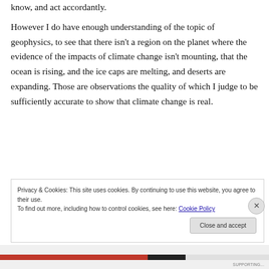know, and act accordantly.
However I do have enough understanding of the topic of geophysics, to see that there isn't a region on the planet where the evidence of the impacts of climate change isn't mounting, that the ocean is rising, and the ice caps are melting, and deserts are expanding. Those are observations the quality of which I judge to be sufficiently accurate to show that climate change is real.
Privacy & Cookies: This site uses cookies. By continuing to use this website, you agree to their use.
To find out more, including how to control cookies, see here: Cookie Policy
Close and accept
SUPPORTING...